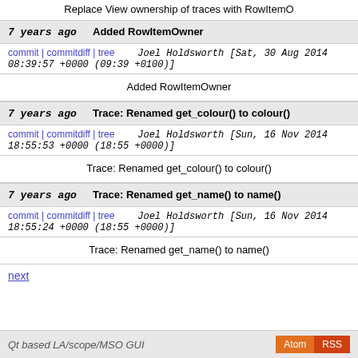Replace View ownership of traces with RowItemO
7 years ago   Added RowItemOwner
commit | commitdiff | tree   Joel Holdsworth [Sat, 30 Aug 2014 08:39:57 +0000 (09:39 +0100)]
Added RowItemOwner
7 years ago   Trace: Renamed get_colour() to colour()
commit | commitdiff | tree   Joel Holdsworth [Sun, 16 Nov 2014 18:55:53 +0000 (18:55 +0000)]
Trace: Renamed get_colour() to colour()
7 years ago   Trace: Renamed get_name() to name()
commit | commitdiff | tree   Joel Holdsworth [Sun, 16 Nov 2014 18:55:24 +0000 (18:55 +0000)]
Trace: Renamed get_name() to name()
next
Qt based LA/scope/MSO GUI   Atom RSS